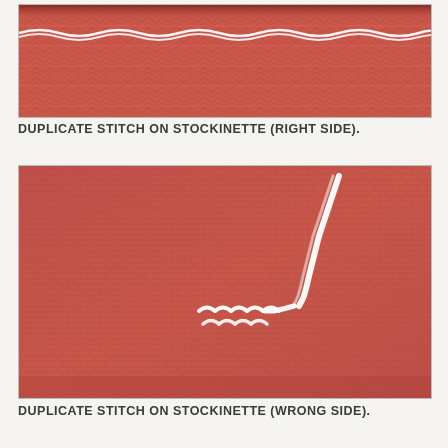[Figure (photo): Close-up photograph of red/salmon stockinette knitting fabric with a white duplicate stitch line worked horizontally across the right side of the fabric.]
DUPLICATE STITCH ON STOCKINETTE (RIGHT SIDE).
[Figure (photo): Close-up photograph of red/salmon stockinette knitting fabric showing the wrong side, with white duplicate stitch visible as loops and a tail of white yarn extending diagonally.]
DUPLICATE STITCH ON STOCKINETTE (WRONG SIDE).